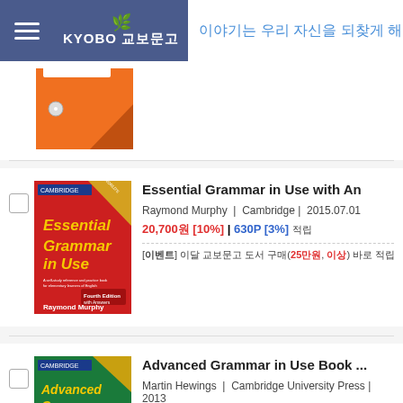KYOBO 교보문고 | 이야기는 우리 자신을 되찾게 해준
[Figure (photo): Partial orange book cover at top of page, Cambridge Grammar series]
[Figure (photo): Essential Grammar in Use book cover, red background with yellow text, Fourth Edition, Raymond Murphy, Cambridge]
Essential Grammar in Use with An
Raymond Murphy | Cambridge | 2015.07.01
20,700원 [10%] | 630P [3%] 적립
[이벤트] 이달 교보문고 도서 구매(25만원, 이상) 바로 적립 [더보기]
[Figure (photo): Advanced Grammar in Use book cover, green background, Cambridge]
Advanced Grammar in Use Book ...
Martin Hewings | Cambridge University Press | 2013
20,700원 [10%] | 630P [3%] 적립